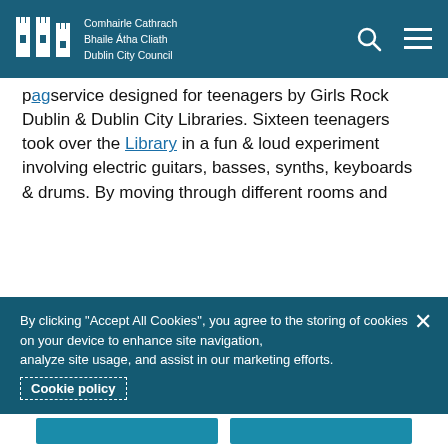Comhairle Cathrach Bhaile Átha Cliath Dublin City Council
service designed for teenagers by Girls Rock Dublin & Dublin City Libraries. Sixteen teenagers took over the Library in a fun & loud experiment involving electric guitars, basses, synths, keyboards & drums. By moving through different rooms and engaging with GRD coaches, participants learned a song on each instrument, and finished by performing the song together.
Girls Rock Dublin is a non-profit, volunteer-led organisation that builds girls' self-esteem through music creation and performance. Providing workshops and technical training, GRD creates leadership opportunities, cultivates a supportive community of peers and mentors, and encourages social change and the development of life skills.
By clicking "Accept All Cookies", you agree to the storing of cookies on your device to enhance site navigation, analyze site usage, and assist in our marketing efforts. Cookie policy